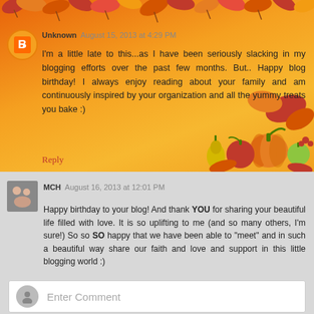Unknown  August 15, 2013 at 4:29 PM
I'm a little late to this...as I have been seriously slacking in my blogging efforts over the past few months. But.. Happy blog birthday! I always enjoy reading about your family and am continuously inspired by your organization and all the yummy treats you bake :)
Reply
MCH  August 16, 2013 at 12:01 PM
Happy birthday to your blog! And thank YOU for sharing your beautiful life filled with love. It is so uplifting to me (and so many others, I'm sure!) So so SO happy that we have been able to "meet" and in such a beautiful way share our faith and love and support in this little blogging world :)
Reply
Enter Comment